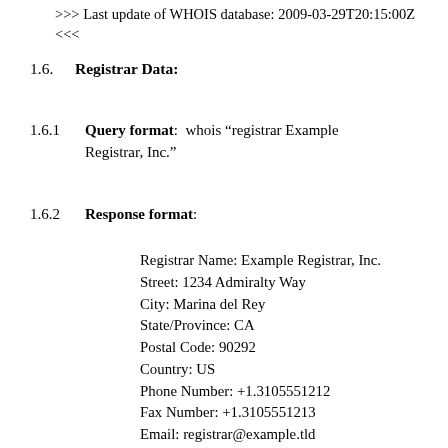>>> Last update of WHOIS database: 2009-03-29T20:15:00Z <<<
1.6.   Registrar Data:
1.6.1   Query format:  whois “registrar Example Registrar, Inc.”
1.6.2   Response format:
Registrar Name: Example Registrar, Inc.
Street: 1234 Admiralty Way
City: Marina del Rey
State/Province: CA
Postal Code: 90292
Country: US
Phone Number: +1.3105551212
Fax Number: +1.3105551213
Email: registrar@example.tld
WHOIS Server: whois.example-registrar.tld
Referral URL: http://www.example-registrar.tld
Admin Contact: Joe Registrar
Phone Number: +1.3105551213
Fax Number: +1.3105551213
Email: joeregistrar@example-registrar.tld